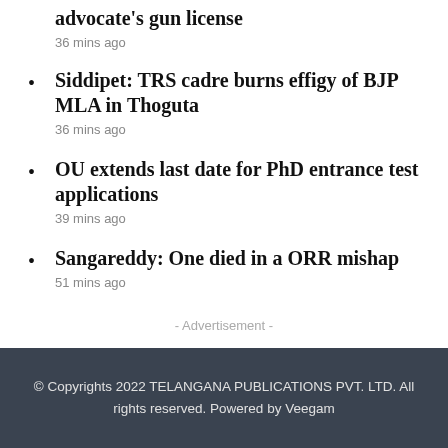advocate's gun license
36 mins ago
Siddipet: TRS cadre burns effigy of BJP MLA in Thoguta
36 mins ago
OU extends last date for PhD entrance test applications
39 mins ago
Sangareddy: One died in a ORR mishap
51 mins ago
- Advertisement -
© Copyrights 2022 TELANGANA PUBLICATIONS PVT. LTD. All rights reserved. Powered by Veegam